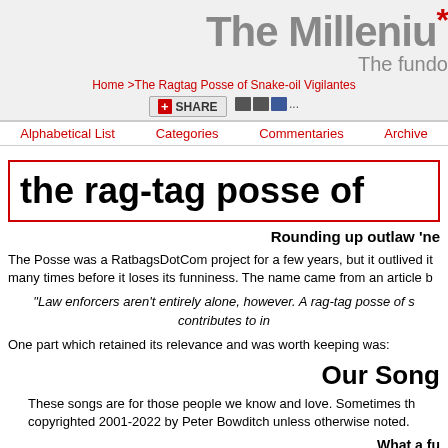The Mileniu* The fundo
Home >The Ragtag Posse of Snake-oil Vigilantes
[Figure (other): Share button with icons (plus, share label, small icons, Facebook icon, ellipsis)]
Alphabetical List | Categories | Commentaries | Archive
the rag-tag posse of
Rounding up outlaw 'ne
The Posse was a RatbagsDotCom project for a few years, but it outlived it many times before it loses its funniness. The name came from an article b
"Law enforcers aren't entirely alone, however. A rag-tag posse of s contributes to in
One part which retained its relevance and was worth keeping was:
Our Song
These songs are for those people we know and love. Sometimes th copyrighted 2001-2022 by Peter Bowditch unless otherwise noted.
What a fu
Dedicated to a certain anti-vaccination campaigner, whose two-sylla of anyone getting sued. In any case, it has generalised application t my friend Darryl, who has assigned copyright to me. First public per held in conjunction with TAM Australia 2010.